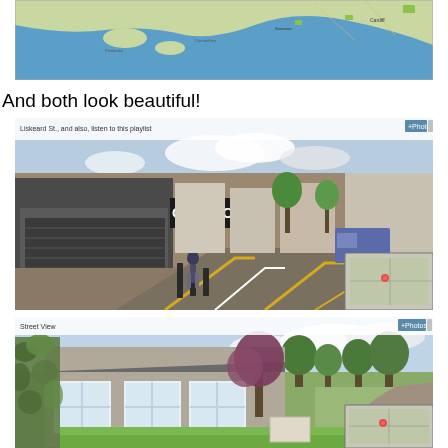[Figure (screenshot): Google Maps screenshot showing southern Wales and southwestern England coastline, with blue sea and green/grey land masses]
And both look beautiful!
[Figure (screenshot): Google Street View screenshot of a UK town high street (Liskeard St.) with shops including 'Connections', bollards, yellow road markings, and a small inset map]
[Figure (screenshot): Google Street View screenshot of a rural UK stone cottage with ivy-covered walls, white windows, a country lane, and green fields in the background, with a small inset map]